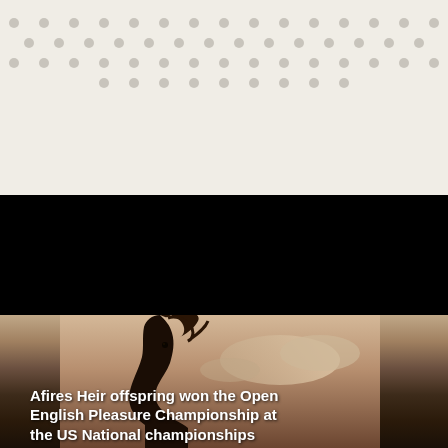[Figure (other): Decorative dot pattern grid on light beige/cream background, arranged in rows of evenly spaced grey circles]
[Figure (photo): Silhouette of a horse's head against a dramatic sunset sky with clouds. Text overlay reads: Afires Heir offspring won the Open English Pleasure Championship at the US National championships]